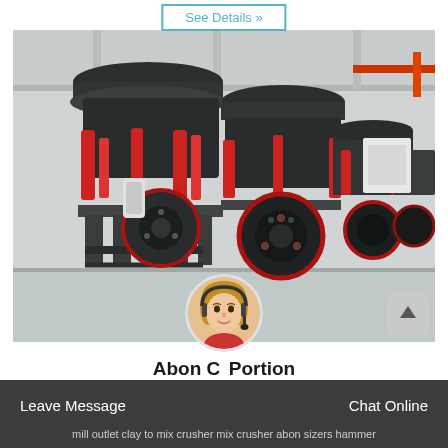See Details »
[Figure (photo): Industrial cone crushers lined up in a factory warehouse. Multiple large black and red hydraulic cone crushers with pulleys and frames are shown in a row inside a large industrial building with white structural columns and overhead lighting.]
[Figure (photo): Customer service avatar - woman with headset]
Abon Crusher Portion
Leave Message
Chat Online
mill outlet clay to mix crusher mix crusher abon sizers hammer